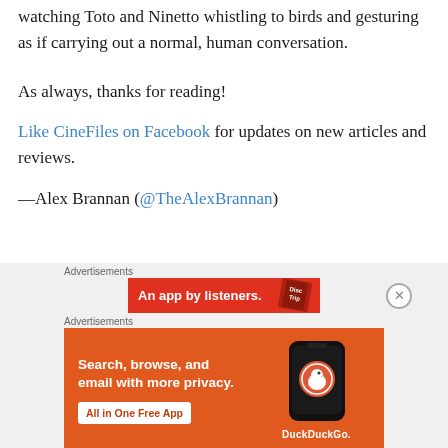watching Toto and Ninetto whistling to birds and gesturing as if carrying out a normal, human conversation.
As always, thanks for reading!
Like CineFiles on Facebook for updates on new articles and reviews.
—Alex Brannan (@TheAlexBrannan)
Advertisements
[Figure (other): Red advertisement banner showing 'An app by listeners.' with a Disc Trip badge]
Advertisements
[Figure (other): Orange DuckDuckGo advertisement: Search, browse, and email with more privacy. All in One Free App. Shows a smartphone with DuckDuckGo logo.]